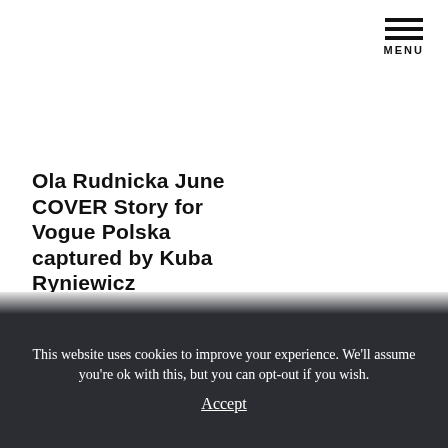MENU
Ola Rudnicka June COVER Story for Vogue Polska captured by Kuba Ryniewicz
This website uses cookies to improve your experience. We'll assume you're ok with this, but you can opt-out if you wish.
Accept